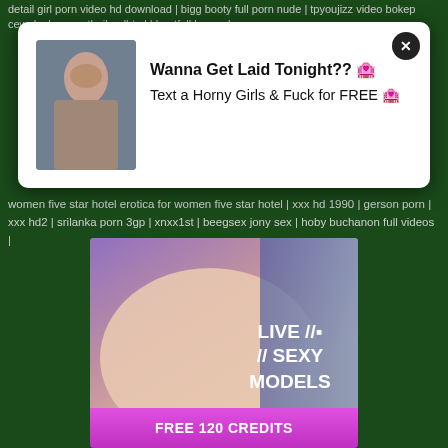detail girl porn video hd download | bigg booty full porn nude | tpyoujizz video bokep cewek abg sma thailandhtml | bautfull beg gals
[Figure (screenshot): Popup overlay with woman photo on left, bold text 'Wanna Get Laid Tonight??' and 'Text a Horny Girls & Fuck for FREE' on right, close X button top right]
women five star hotel erotica for women five star hotel | xxx hd 1990 | gerson porn | xxx hd2 | srilanka porn 3gp | xnxx1st | beegsex jony sex | hoby buchanon full videos |
[Figure (photo): Adult advertisement banner showing 'LIVE SEXY MODELS' text overlay with 'FREE 120 CREDITS' pink button below]